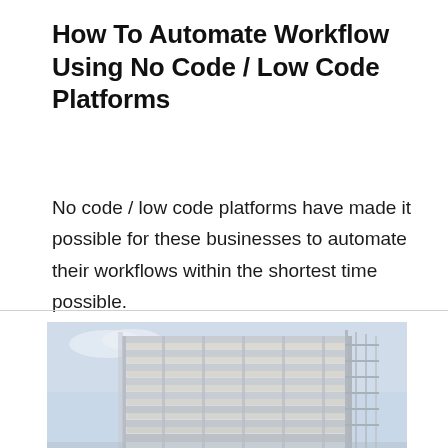How To Automate Workflow Using No Code / Low Code Platforms
No code / low code platforms have made it possible for these businesses to automate their workflows within the shortest time possible.
[Figure (photo): Photo of a modern glass office building facade shot from below against a light blue sky]